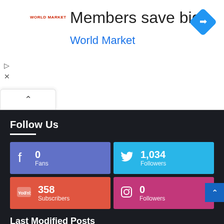[Figure (screenshot): Advertisement banner: 'Members save big / World Market' with diamond navigation icon, play and close controls, and a collapse tab arrow.]
Follow Us
[Figure (infographic): Social media follower counts: Facebook 0 Fans, Twitter 1,034 Followers, YouTube 358 Subscribers, Instagram 0 Followers]
Last Modified Posts